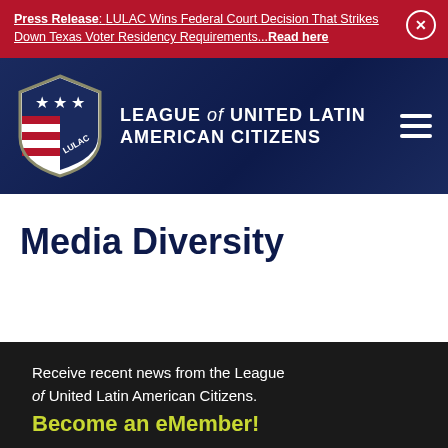Press Release: LULAC Wins Federal Court Decision That Strikes Down Texas Voter Residency Requirements...Read here
[Figure (logo): LULAC shield logo with American flag design and stars, beside text LEAGUE of UNITED LATIN AMERICAN CITIZENS]
Media Diversity
Receive recent news from the League of United Latin American Citizens. Become an eMember!